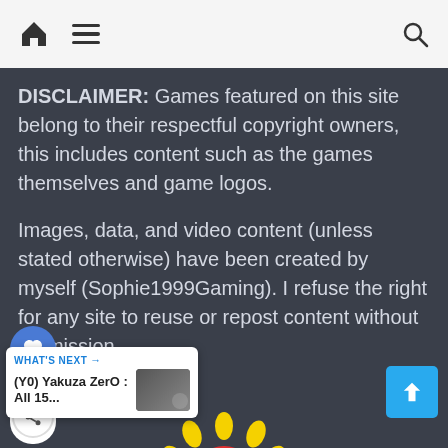Navigation bar with home, hamburger menu, and search icons
DISCLAIMER: Games featured on this site belong to their respectful copyright owners, this includes content such as the games themselves and game logos.
Images, data, and video content (unless stated otherwise) have been created by myself (Sophie1999Gaming). I refuse the right for any site to reuse or repost content without permission.
[Figure (infographic): Social share widget with heart/like button (blue circle), share count of 3, and share button below]
[Figure (infographic): What's Next card showing '(Y0) Yakuza ZerO : All 15...' with thumbnail image]
[Figure (infographic): Scroll to top button (cyan/blue square with upward arrow)]
[Figure (illustration): Sun decoration at bottom center of page with yellow rays and red/orange center, partially visible]